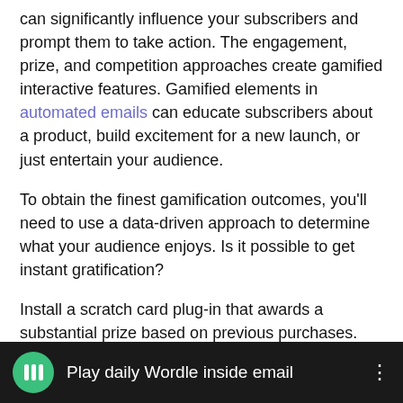can significantly influence your subscribers and prompt them to take action. The engagement, prize, and competition approaches create gamified interactive features. Gamified elements in automated emails can educate subscribers about a product, build excitement for a new launch, or just entertain your audience.
To obtain the finest gamification outcomes, you'll need to use a data-driven approach to determine what your audience enjoys. Is it possible to get instant gratification?
Install a scratch card plug-in that awards a substantial prize based on previous purchases. Create a quest that will entice your subscribers to return for more.
[Figure (screenshot): Dark video bar showing a green Mailchimp-style icon and the text 'Play daily Wordle inside email' with a three-dot menu icon on the right]